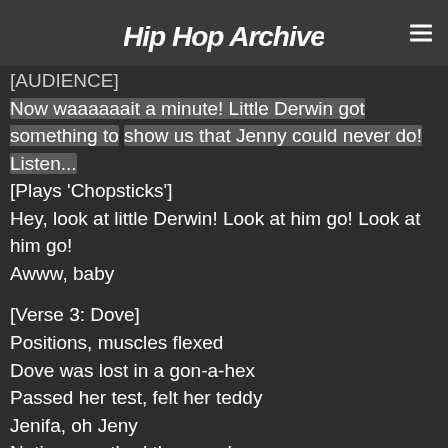Hip Hop Archive
[AUDIENCE]
Now waaaaaait a minute! Little Derwin got something to show us that Jenny could never do! Listen...
[Plays 'Chopsticks']
Hey, look at little Derwin! Look at him go! Look at him go!
Awww, baby
[Verse 3: Dove]
Positions, muscles flexed
Dove was lost in a gon-a-hex
Passed her test, felt her teddy
Jenifa, oh Jeny
Notions soothed the mood